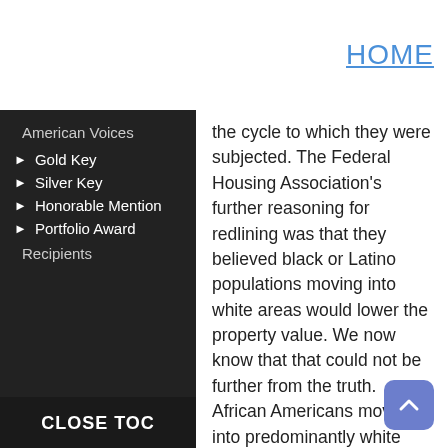HOME
American Voices
▶ Gold Key
▶ Silver Key
▶ Honorable Mention
▶ Portfolio Award
Recipients
CLOSE TOC
the cycle to which they were subjected. The Federal Housing Association's further reasoning for redlining was that they believed black or Latino populations moving into white areas would lower the property value. We now know that that could not be further from the truth. African Americans moving into predominantly white neighborhoods actually raised the property value because the housing ma